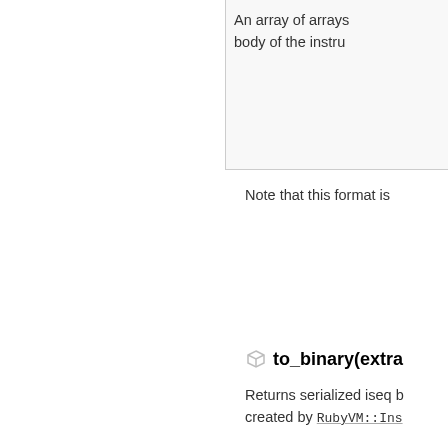An array of arrays body of the instru
Note that this format is
to_binary(extra
Returns serialized iseq b created by RubyVM::Ins
String extra_data will b RubyVM::InstructionS
Note that the translated machine. You can not us architecture of Ruby.
trace_points →
Return trace points in th